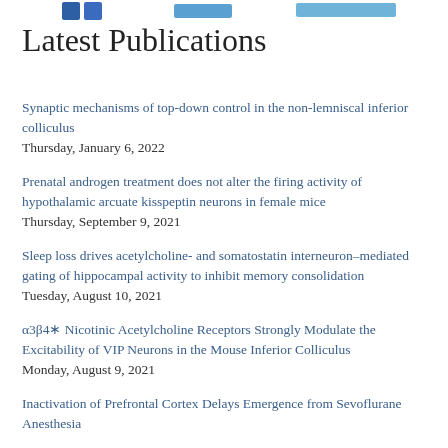[Figure (other): Partial social media / navigation icons visible at top of page (blue square icons and a light blue rectangle)]
Latest Publications
Synaptic mechanisms of top-down control in the non-lemniscal inferior colliculus
Thursday, January 6, 2022
Prenatal androgen treatment does not alter the firing activity of hypothalamic arcuate kisspeptin neurons in female mice
Thursday, September 9, 2021
Sleep loss drives acetylcholine- and somatostatin interneuron–mediated gating of hippocampal activity to inhibit memory consolidation
Tuesday, August 10, 2021
α3β4∗ Nicotinic Acetylcholine Receptors Strongly Modulate the Excitability of VIP Neurons in the Mouse Inferior Colliculus
Monday, August 9, 2021
Inactivation of Prefrontal Cortex Delays Emergence from Sevoflurane Anesthesia